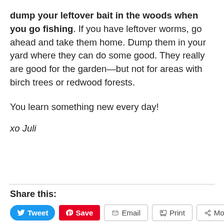dump your leftover bait in the woods when you go fishing. If you have leftover worms, go ahead and take them home. Dump them in your yard where they can do some good. They really are good for the garden—but not for areas with birch trees or redwood forests.
You learn something new every day!
xo Juli
Share this: